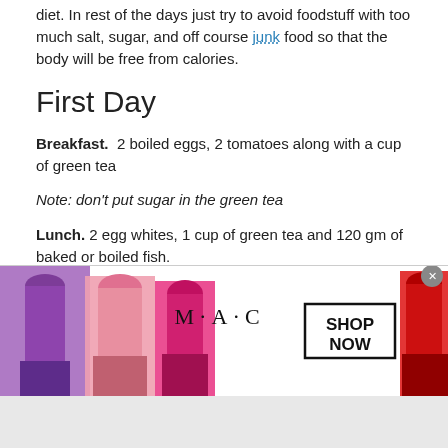diet. In rest of the days just try to avoid foodstuff with too much salt, sugar, and off course junk food so that the body will be free from calories.
First Day
Breakfast. 2 boiled eggs, 2 tomatoes along with a cup of green tea
Note: don't put sugar in the green tea
Lunch. 2 egg whites, 1 cup of green tea and 120 gm of baked or boiled fish.
Dinner. Steamed vegetable bowl including carrots, cauliflower, broccoli, peas and green beans and a cup of green tea with it.
[Figure (photo): Advertisement banner for MAC cosmetics showing lipsticks on both sides with MAC logo and SHOP NOW button in center]